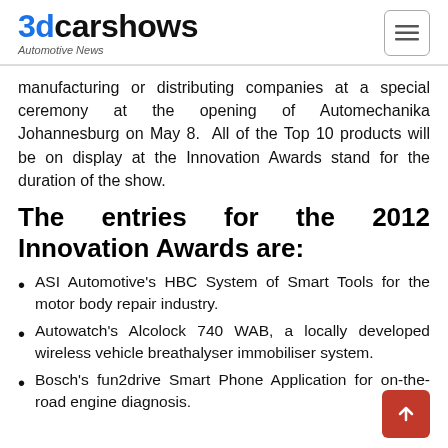3dcarshows Automotive News
manufacturing or distributing companies at a special ceremony at the opening of Automechanika Johannesburg on May 8.  All of the Top 10 products will be on display at the Innovation Awards stand for the duration of the show.
The entries for the 2012 Innovation Awards are:
ASI Automotive's HBC System of Smart Tools for the motor body repair industry.
Autowatch's Alcolock 740 WAB, a locally developed wireless vehicle breathalyser immobiliser system.
Bosch's fun2drive Smart Phone Application for on-the-road engine diagnosis.